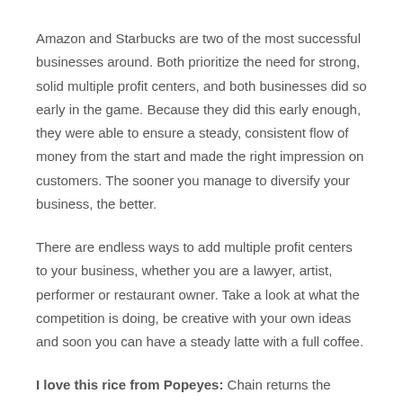Amazon and Starbucks are two of the most successful businesses around. Both prioritize the need for strong, solid multiple profit centers, and both businesses did so early in the game. Because they did this early enough, they were able to ensure a steady, consistent flow of money from the start and made the right impression on customers. The sooner you manage to diversify your business, the better.
There are endless ways to add multiple profit centers to your business, whether you are a lawyer, artist, performer or restaurant owner. Take a look at what the competition is doing, be creative with your own ideas and soon you can have a steady latte with a full coffee.
I love this rice from Popeyes: Chain returns the popular Cajun rice for a limited time